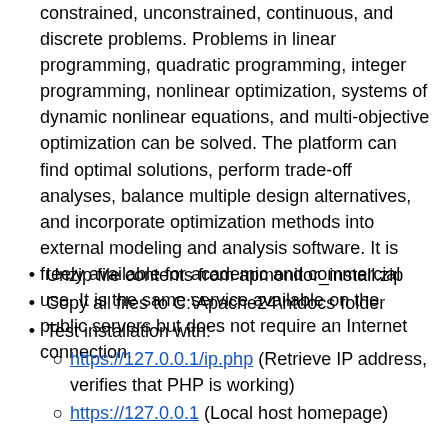constrained, unconstrained, continuous, and discrete problems. Problems in linear programming, quadratic programming, integer programming, nonlinear optimization, systems of dynamic nonlinear equations, and multi-objective optimization can be solved. The platform can find optimal solutions, perform trade-off analyses, balance multiple design alternatives, and incorporate optimization methods into external modeling and analysis software. It is freely available for academic and commercial use. It is the same service available on the public servers but does not require an Internet connection.
Unzip file contents from apmonitor_install.zip
Copy all files to C:\Apache24\htdocs folder
Test installation with:
https://127.0.0.1/ip.php (Retrieve IP address, verifies that PHP is working)
https://127.0.0.1 (Local host homepage)